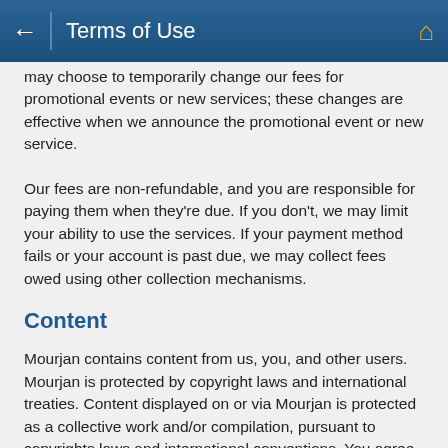Terms of Use
may choose to temporarily change our fees for promotional events or new services; these changes are effective when we announce the promotional event or new service.
Our fees are non-refundable, and you are responsible for paying them when they're due. If you don't, we may limit your ability to use the services. If your payment method fails or your account is past due, we may collect fees owed using other collection mechanisms.
Content
Mourjan contains content from us, you, and other users. Mourjan is protected by copyright laws and international treaties. Content displayed on or via Mourjan is protected as a collective work and/or compilation, pursuant to copyrights laws and international conventions. You agree not to copy, distribute or modify content from Mourjan without our express written consent. You may not disassemble or decompile, reverse engineer or otherwise attempt to